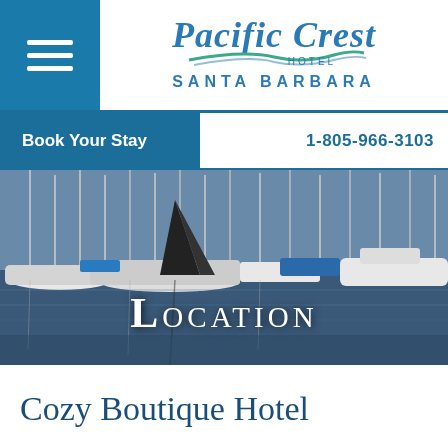[Figure (logo): Pacific Crest Hotel Santa Barbara logo with stylized script text and wave/swoosh graphic]
Book Your Stay
1-805-966-3103
[Figure (photo): Santa Barbara marina with sailboats and motor boats docked, masts visible against sky, water reflections]
Location
Cozy Boutique Hotel